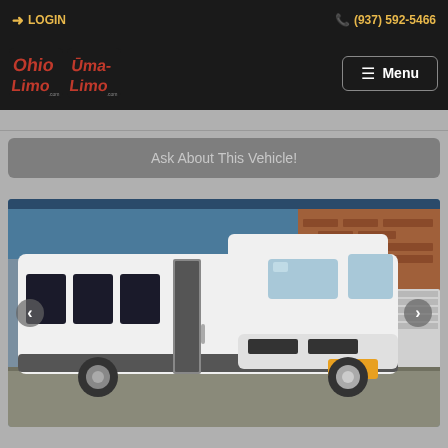LOGIN   (937) 592-5466
[Figure (logo): Ohio Limo and Uma Limo logos on black navigation bar with Menu button]
Ask About This Vehicle!
[Figure (photo): White shuttle bus / party bus parked in a parking lot in front of a brick building, with open side door, shown from a front-side angle. Navigation carousel arrows on left and right sides.]